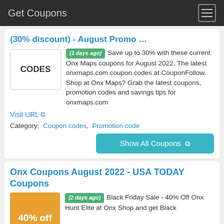Get Coupons
(30% discount) - August Promo …
[Figure (other): CODES placeholder image box]
(1 days ago) Save up to 30% with these current Onx Maps coupons for August 2022. The latest onxmaps.com coupon codes at CouponFollow. Shop at Onx Maps? Grab the latest coupons, promotion codes and savings tips for onxmaps.com
Visit URL
Category: Coupon codes, Promotion code
Show All Coupons
Onx Coupons August 2022 - USA TODAY Coupons
[Figure (other): 40% off orange badge image]
(2 days ago) Black Friday Sale - 40% Off Onx Hunt Elite at Onx Shop and get Black